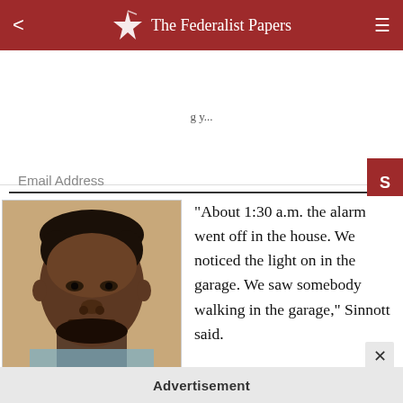The Federalist Papers
Email Address
[Figure (photo): Mugshot photo of a young Black man with short natural hair and a beard, wearing a light blue shirt, against a tan/beige background.]
“About 1:30 a.m. the alarm went off in the house. We noticed the light on in the garage. We saw somebody walking in the garage,” Sinnott said.
Advertisement